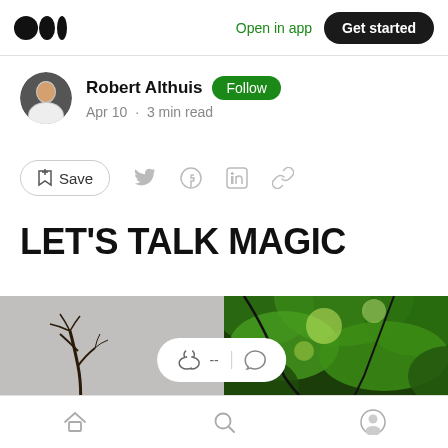Medium logo | Open in app | Get started
Robert Althuis  Follow
Apr 10 · 3 min read
[Figure (screenshot): Action bar with Save button, Twitter, Facebook, LinkedIn, and link icons]
LET'S TALK MAGIC
[Figure (photo): Split image: left side shows bare branches on grey background, right side shows green leafy tree canopy. A reaction pill overlay shows clapping hands icon and comment icon.]
Home | Search | Profile navigation icons